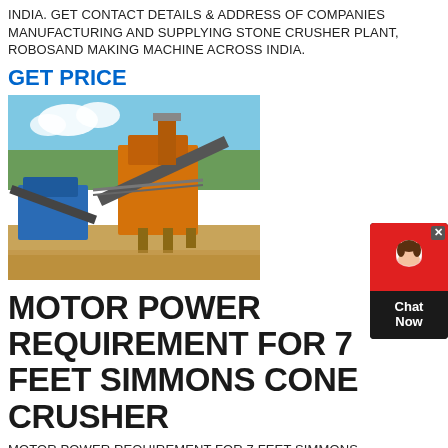INDIA. GET CONTACT DETAILS & ADDRESS OF COMPANIES MANUFACTURING AND SUPPLYING STONE CRUSHER PLANT, ROBOSAND MAKING MACHINE ACROSS INDIA.
GET PRICE
[Figure (photo): Stone crusher plant machinery photographed outdoors, showing large industrial orange crushing equipment with conveyor belts, against a background of hills and blue sky.]
MOTOR POWER REQUIREMENT FOR 7 FEET SIMMONS CONE CRUSHER
MOTOR POWER REQUIREMENT FOR 7 FEET SIMMONS